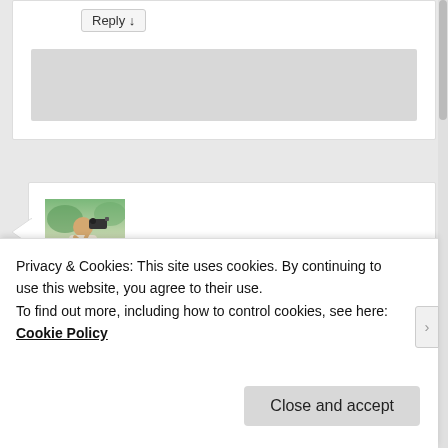Reply ↓
[Figure (photo): Avatar photo of Phil Lanoue, showing a person with a camera]
Phil Lanoue on October 11, 2013 at 3:57 pm said:
“Fall Out Boy sound check” That’s pretty funny.
Reply ↓
Privacy & Cookies: This site uses cookies. By continuing to use this website, you agree to their use.
To find out more, including how to control cookies, see here: Cookie Policy
Close and accept